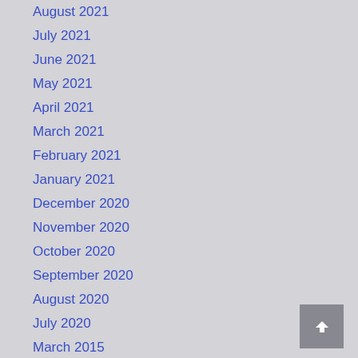August 2021
July 2021
June 2021
May 2021
April 2021
March 2021
February 2021
January 2021
December 2020
November 2020
October 2020
September 2020
August 2020
July 2020
March 2015